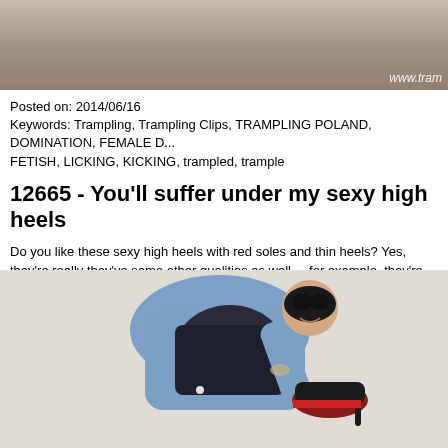[Figure (photo): Top portion of a photo showing a person lying down, cropped at bottom of frame, with watermark 'www.tram...' visible in bottom right]
Posted on: 2014/06/16
Keywords: Trampling, Trampling Clips, TRAMPLING POLAND, DOMINATION, FEMALE D..., FETISH, LICKING, KICKING, trampled, trample
12665 - You'll suffer under my sexy high heels
Do you like these sexy high heels with red soles and thin heels? Yes, they're really ... they've some other qualities as well ... for example, they're also perfect to really dis... does it feel when I walk over your body and face carelessly with these shoes and th... your flesh? Hopefully I don't slip and pierce your eye with these heels ... you shoul... Your cheeks and forehead are already completely covered with marks from these s... sure the pain is almost unbearable - but you'll endure the pain - you'll have to endu... amusement! This is a non-exclusive custom clip for a fan. If you want me to do a cu... me an email to marissa@madamemarissa.com!
[Figure (photo): Photo of a woman wearing a black mask, blue jeans, dark top, holding up a red-soled high heel shoe toward the camera]